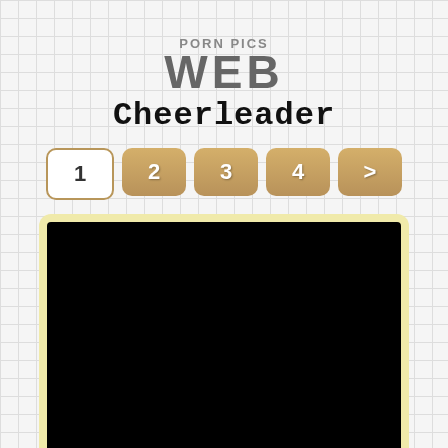PORN PICS WEB
Cheerleader
1 2 3 4 >
[Figure (photo): Black image placeholder for cheerleader photo gallery page 1]